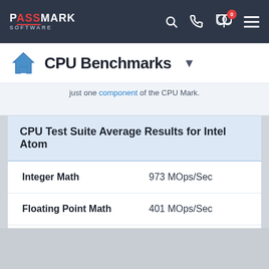PassMark Software
CPU Benchmarks
just one component of the CPU Mark.
| CPU Test Suite Average Results for Intel Atom |  |
| --- | --- |
| Integer Math | 973 MOps/Sec |
| Floating Point Math | 401 MOps/Sec |
| Find Prime Numbers | 1 Million Primes/Sec |